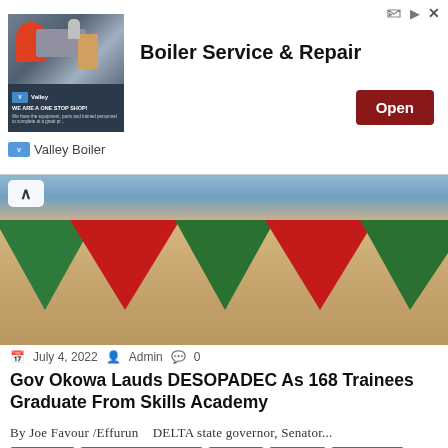[Figure (screenshot): Ad banner for Valley Boiler: Boiler Service & Repair with industrial boiler image and Open button]
[Figure (photo): Decorative table skirting with red, green, and cream colored fabric bunting at an event]
July 4, 2022   Admin   0
Gov Okowa Lauds DESOPADEC As 168 Trainees Graduate From Skills Academy
By Joe Favour /Effurun   DELTA state governor, Senator...
Breaking
Business & Finance
Oil/Gas
Politics
Vital News
[Figure (photo): Three men standing outdoors in front of trees, leftmost wearing purple bishop robes and blue mask]